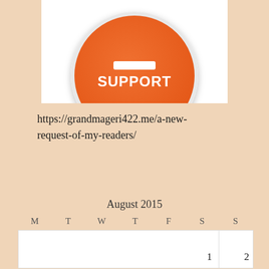[Figure (illustration): Orange circular support button with white rectangle and SUPPORT text, partially visible at top of page on white background]
https://grandmageri422.me/a-new-request-of-my-readers/
August 2015
| M | T | W | T | F | S | S |
| --- | --- | --- | --- | --- | --- | --- |
|  |  |  |  |  | 1 | 2 |